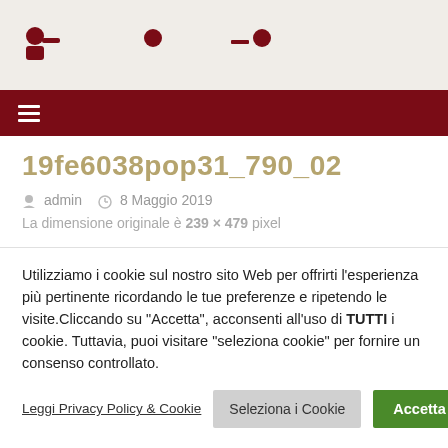[Figure (screenshot): Website header area with dark red icons (user, home, search, minimize, profile) on a light beige background]
≡ (hamburger menu icon on dark red navigation bar)
19fe6038pop31_790_02
admin  8 Maggio 2019
La dimensione originale è 239 × 479 pixel
Utilizziamo i cookie sul nostro sito Web per offrirti l'esperienza più pertinente ricordando le tue preferenze e ripetendo le visite.Cliccando su "Accetta", acconsenti all'uso di TUTTI i cookie. Tuttavia, puoi visitare "seleziona cookie" per fornire un consenso controllato.
Leggi Privacy Policy & Cookie  Seleziona i Cookie  Accetta